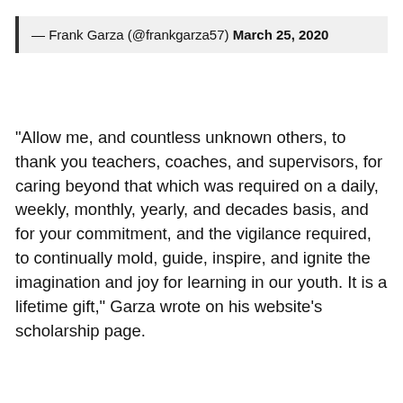— Frank Garza (@frankgarza57) March 25, 2020
“Allow me, and countless unknown others, to thank you teachers, coaches, and supervisors, for caring beyond that which was required on a daily, weekly, monthly, yearly, and decades basis, and for your commitment, and the vigilance required, to continually mold, guide, inspire, and ignite the imagination and joy for learning in our youth. It is a lifetime gift,” Garza wrote on his website’s scholarship page.